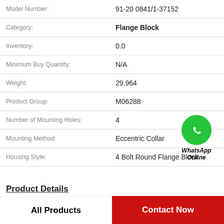| Field | Value |
| --- | --- |
| Model Number: | 91-20 0841/1-37152 |
| Category: | Flange Block |
| Inventory: | 0.0 |
| Minimum Buy Quantity: | N/A |
| Weight: | 29.964 |
| Product Group: | M06288 |
| Number of Mounting Holes: | 4 |
| Mounting Method: | Eccentric Collar |
| Housing Style: | 4 Bolt Round Flange Block |
[Figure (logo): WhatsApp Online green circle icon with phone handset, labeled WhatsApp Online in bold italic]
Product Details
All Products
Contact Now